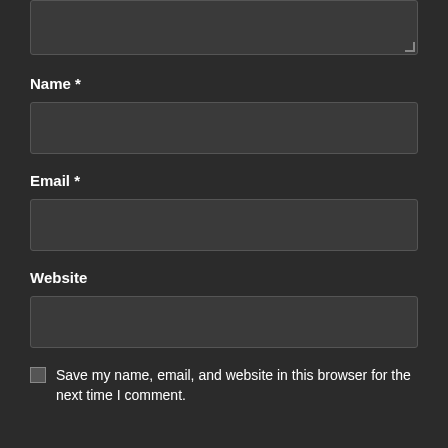[Figure (screenshot): Top portion of a comment form textarea input box, dark theme, partially visible at the top of the page]
Name *
[Figure (screenshot): Name input field, dark theme, empty text box]
Email *
[Figure (screenshot): Email input field, dark theme, empty text box]
Website
[Figure (screenshot): Website input field, dark theme, empty text box]
Save my name, email, and website in this browser for the next time I comment.